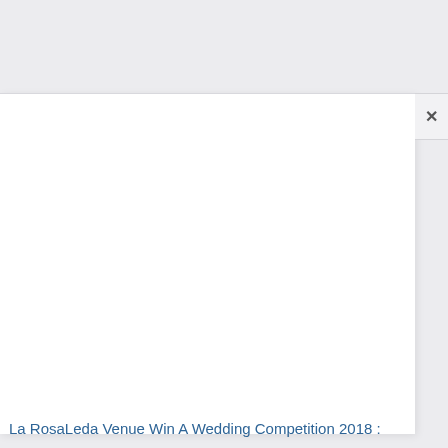[Figure (screenshot): A modal/popup dialog box overlay on a white background. The modal has a white interior, a top border line, and a close button (×) on the upper right. The modal content area appears mostly blank/empty.]
La RosaLeda Venue Win A Wedding Competition 2018 :